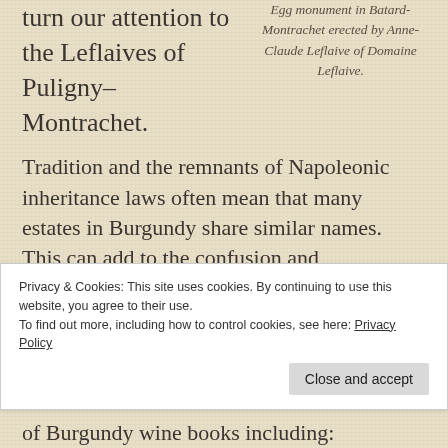turn our attention to the Leflaives of Puligny-Montrachet.
Egg monument in Batard-Montrachet erected by Anne-Claude Leflaive of Domaine Leflaive.
Tradition and the remnants of Napoleonic inheritance laws often mean that many estates in Burgundy share similar names. This can add to the confusion and
Privacy & Cookies: This site uses cookies. By continuing to use this website, you agree to their use.
To find out more, including how to control cookies, see here: Privacy Policy
of Burgundy wine books including: